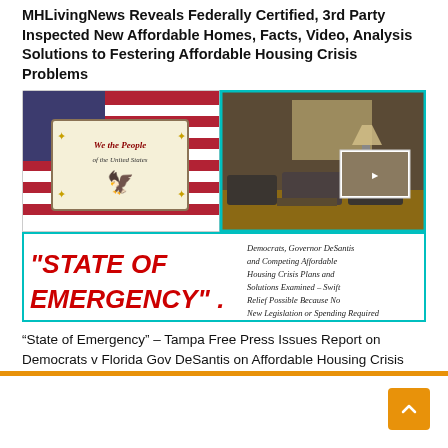MHLivingNews Reveals Federally Certified, 3rd Party Inspected New Affordable Homes, Facts, Video, Analysis Solutions to Festering Affordable Housing Crisis Problems
[Figure (infographic): Composite image with two panels on top: left panel shows a 'We the People' style American flag graphic, right panel shows a living room interior with furniture and a video thumbnail. Bottom panel shows large red text 'STATE OF EMERGENCY' with cursive text on right: 'Democrats, Governor DeSantis and Competing Affordable Housing Crisis Plans and Solutions Examined – Swift Relief Possible Because No New Legislation or Spending Required']
“State of Emergency” – Tampa Free Press Issues Report on Democrats v Florida Gov DeSantis on Affordable Housing Crisis